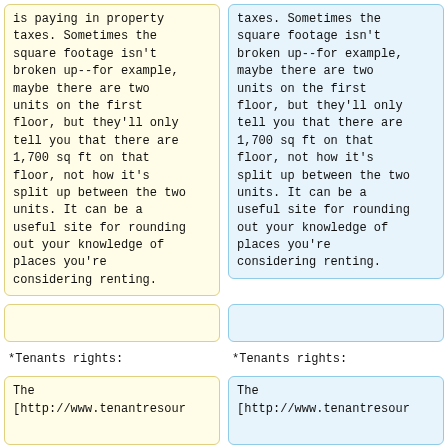is paying in property taxes. Sometimes the square footage isn't broken up--for example, maybe there are two units on the first floor, but they'll only tell you that there are 1,700 sq ft on that floor, not how it's split up between the two units. It can be a useful site for rounding out your knowledge of places you're considering renting.
taxes. Sometimes the square footage isn't broken up--for example, maybe there are two units on the first floor, but they'll only tell you that there are 1,700 sq ft on that floor, not how it's split up between the two units. It can be a useful site for rounding out your knowledge of places you're considering renting.
*Tenants rights:
*Tenants rights:
The
[http://www.tenantresour
The
[http://www.tenantresour